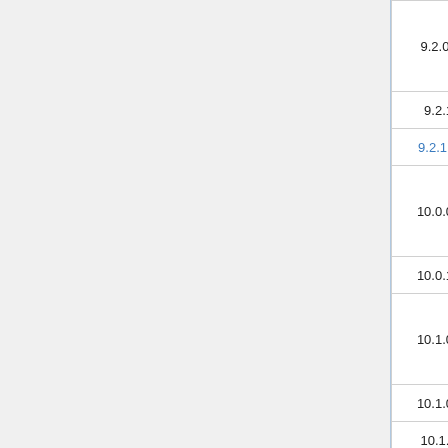| Version | Col2 | Col3 | Col4 |
| --- | --- | --- | --- |
| 9.2.0.61 | 7.66.73.0 | 3.1.0.62 | 1.3.0 |
| 9.2.1.4 | 7.66.73.0 | 3.1.0.62 | 1.3.0 |
| 9.2.1.5 | 7.66.73.0 | 3.1.0.62 | 1.3.0 |
| 10.0.0.68 | 7.67.75.0 | 3.2.0.47 | 1.3.2 |
| 10.0.1.22 | 7.68.75.0 | 3.2.0.47 | 1.3.2 |
| 10.1.0.54 | 7.68.75.0 | 3.3.0.69 | 1.4.0 |
| 10.1.0.56 | 7.68.75.0 | 3.3.0.69 | 1.4.1 |
| 10.1.1.4 | 7.69.80.9 | 3.3.0.69 | 1.4.1 |